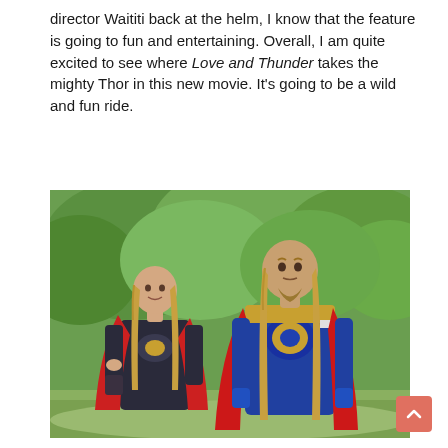director Waititi back at the helm, I know that the feature is going to fun and entertaining. Overall, I am quite excited to see where Love and Thunder takes the mighty Thor in this new movie. It's going to be a wild and fun ride.
[Figure (photo): Two actors in Thor costumes standing outdoors in front of green foliage. On the left is a woman in dark Thor armor with red cape, and on the right is a man with long blond hair in blue and gold Thor armor with a red cape.]